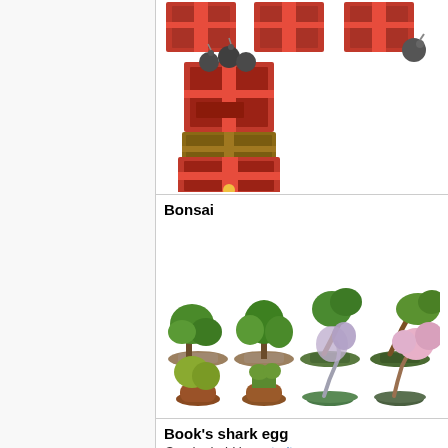[Figure (illustration): Pixel art game items: stacked wooden crates with bombs/cannonballs on top, and partial views of similar crate items at the top right]
Bonsai
[Figure (illustration): Eight pixel art bonsai tree sprites arranged in two rows of four: various styles including green leafy trees in flat trays and bushier trees in round pots, plus two with pink/purple blossoms]
Book's shark egg
Can be held in portraits.
[Figure (illustration): Pixel art blue egg with a shark face/teeth design on it]